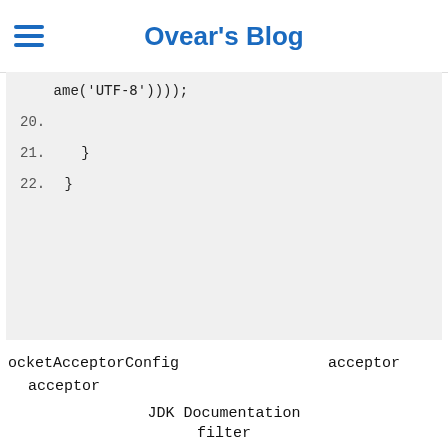Ovear's Blog
ame('UTF-8'))));
20.
21.    }
22. }
ocketAcceptorConfig    acceptor
    acceptor
JDK Documentation
filter
sessions    session
ProtocolCodecFilter
acceptor